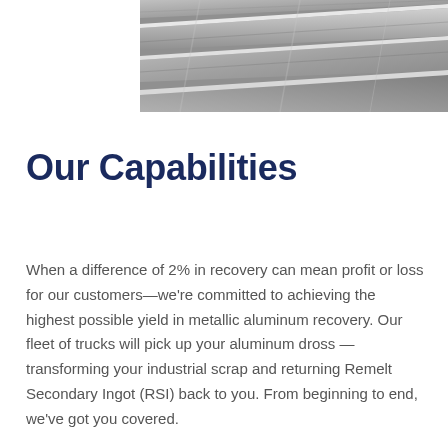[Figure (photo): Close-up photograph of stacked metallic aluminum ingots or dross material, showing a grey metallic texture with angular slabs]
Our Capabilities
When a difference of 2% in recovery can mean profit or loss for our customers—we're committed to achieving the highest possible yield in metallic aluminum recovery. Our fleet of trucks will pick up your aluminum dross — transforming your industrial scrap and returning Remelt Secondary Ingot (RSI) back to you. From beginning to end, we've got you covered.